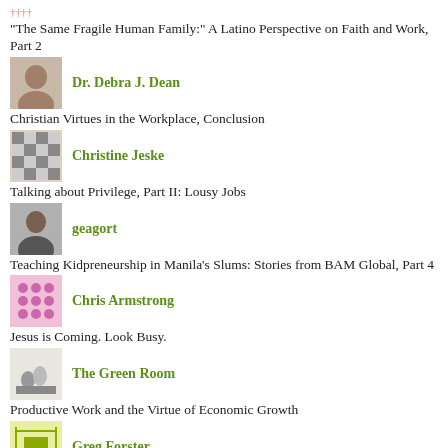"The Same Fragile Human Family:" A Latino Perspective on Faith and Work, Part 2
Dr. Debra J. Dean
Christian Virtues in the Workplace, Conclusion
Christine Jeske
Talking about Privilege, Part II: Lousy Jobs
geagort
Teaching Kidpreneurship in Manila's Slums: Stories from BAM Global, Part 4
Chris Armstrong
Jesus is Coming. Look Busy.
The Green Room
Productive Work and the Virtue of Economic Growth
Greg Forster
What Does Justice Require?
Jeff Haanen
Exploring Common Practices for Faith and Work in Local Churches.